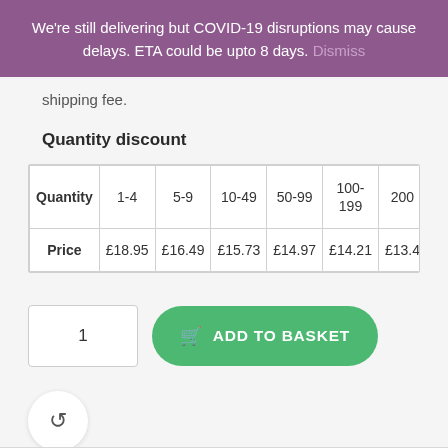We're still delivering but COVID-19 disruptions may cause delays. ETA could be upto 8 days. Dismiss
shipping fee.
Quantity discount
| Quantity | 1-4 | 5-9 | 10-49 | 50-99 | 100-199 | 200+ |
| --- | --- | --- | --- | --- | --- | --- |
| Price | £18.95 | £16.49 | £15.73 | £14.97 | £14.21 | £13.4+ |